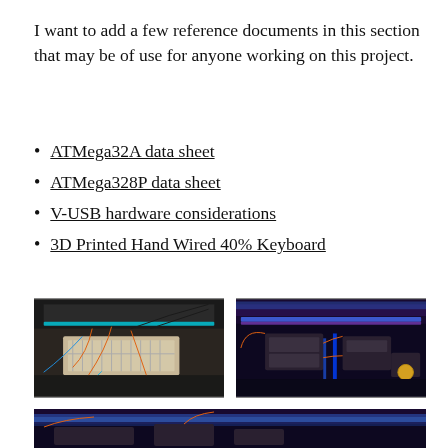I want to add a few reference documents in this section that may be of use for anyone working on this project.
ATMega32A data sheet
ATMega328P data sheet
V-USB hardware considerations
3D Printed Hand Wired 40% Keyboard
[Figure (photo): Photo of a breadboard with electronic components, wires (orange, blue, black), and a keyboard in the background]
[Figure (photo): Photo of Arduino/microcontroller boards with blue LED lighting, wires, and keyboard in background]
[Figure (photo): Photo of keyboard and electronic components with blue LED lighting, partially visible at bottom of page]